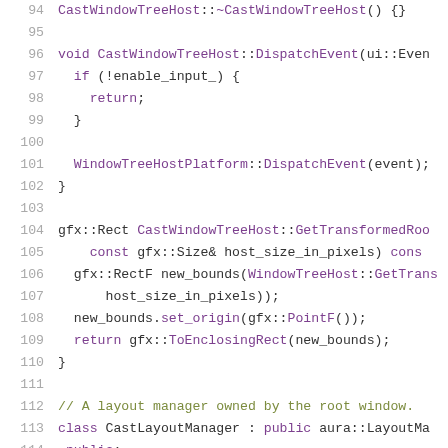[Figure (screenshot): Source code listing (C++) showing lines 94-115 of a file, with syntax highlighting. Line numbers in gray on left, keywords in purple, comments in olive/green, identifiers in dark/black. Code includes CastWindowTreeHost destructor, DispatchEvent method, GetTransformedRoot method, and beginning of CastLayoutManager class.]